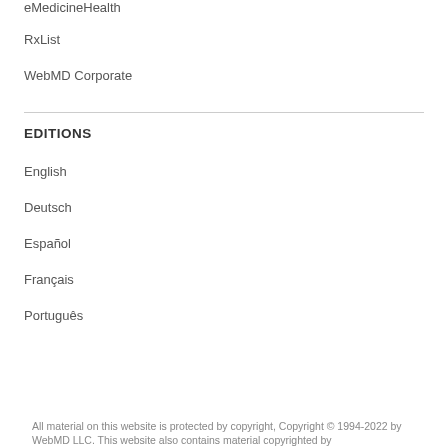eMedicineHealth
RxList
WebMD Corporate
EDITIONS
English
Deutsch
Español
Français
Português
All material on this website is protected by copyright, Copyright © 1994-2022 by WebMD LLC. This website also contains material copyrighted by